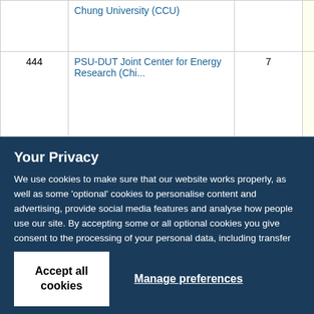|  | Name | Count | Score |
| --- | --- | --- | --- |
|  | Chung University (CCU) |  |  |
| 444 | PSU-DUT Joint Center for Energy Research (Chi... | 7 | 3.64 |
Your Privacy
We use cookies to make sure that our website works properly, as well as some 'optional' cookies to personalise content and advertising, provide social media features and analyse how people use our site. By accepting some or all optional cookies you give consent to the processing of your personal data, including transfer to third parties, some in countries outside of the European Economic Area that do not offer the same data protection standards as the country where you live. You can decide which optional cookies to accept by clicking on 'Manage Settings', where you can also find more information about how your personal data is processed. Further information can be found in our privacy policy.
Accept all cookies
Manage preferences